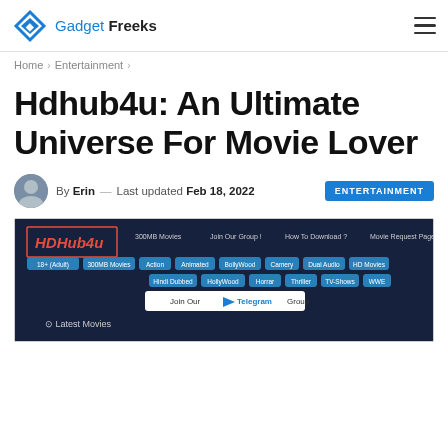Gadget Freeks
Home › Entertainment ›
Hdhub4u: An Ultimate Universe For Movie Lover
By Erin — Last updated Feb 18, 2022  ENTERTAINMENT
[Figure (screenshot): Screenshot of the Hdhub4u website showing the site header with navigation categories including 18+ Adult, 300MB Movies, Action, Animated, Bollywood, Camery, Dual Audio, HD Movies, Hindi Dubbed, Hollywood, Horror, Thriller, TV-Shows, UnOfficial Dubbed, Web-Series, WWE, a Telegram Group join button, and a Latest Movies section.]